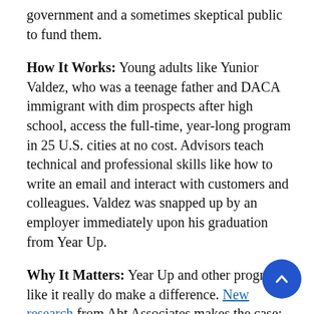government and a sometimes skeptical public to fund them.
How It Works: Young adults like Yunior Valdez, who was a teenage father and DACA immigrant with dim prospects after high school, access the full-time, year-long program in 25 U.S. cities at no cost. Advisors teach technical and professional skills like how to write an email and interact with customers and colleagues. Valdez was snapped up by an employer immediately upon his graduation from Year Up.
Why It Matters: Year Up and other programs like it really do make a difference. New research from Abt Associates makes the case: The results of a randomized controlled trial show Year Up graduates enjoy earnings gains of 30 to 40 percent annually over their peers, and those